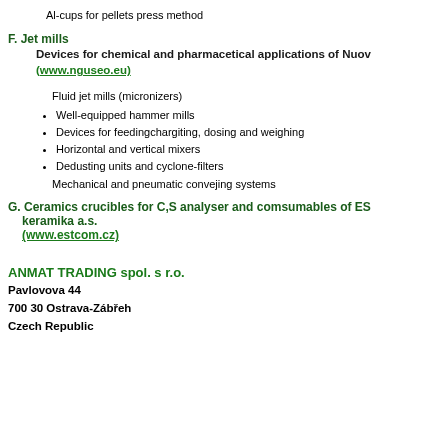Al-cups for pellets press method
F. Jet mills
Devices for chemical and pharmacetical applications of Nuov... (www.nguseo.eu)
Fluid jet mills (micronizers)
Well-equipped hammer mills
Devices for feedingchargiting, dosing and weighing
Horizontal and vertical mixers
Dedusting units and cyclone-filters
Mechanical and pneumatic convejing systems
G. Ceramics crucibles for C,S analyser and comsumables of ES... keramika a.s. (www.estcom.cz)
ANMAT TRADING spol. s r.o.
Pavlovova 44
700 30 Ostrava-Zábřeh
Czech Republic